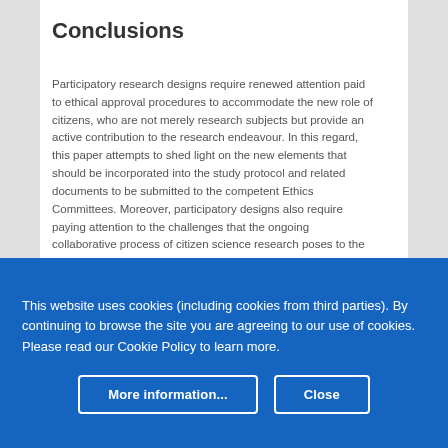Conclusions
Participatory research designs require renewed attention paid to ethical approval procedures to accommodate the new role of citizens, who are not merely research subjects but provide an active contribution to the research endeavour. In this regard, this paper attempts to shed light on the new elements that should be incorporated into the study protocol and related documents to be submitted to the competent Ethics Committees. Moreover, participatory designs also require paying attention to the challenges that the ongoing collaborative process of citizen science research poses to the traditional process of ethical approval. All these innovations pose some challenges to
This website uses cookies (including cookies from third parties). By continuing to browse the site you are agreeing to our use of cookies. Please read our Cookie Policy to learn more.
More information...
Close